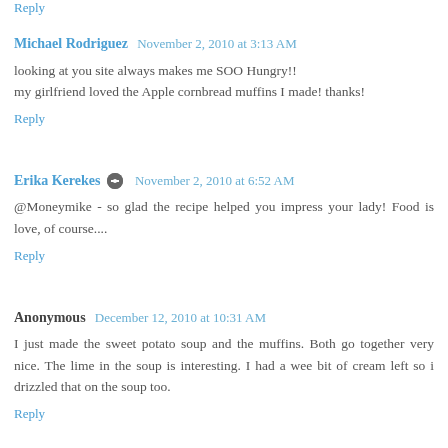Reply
Michael Rodriguez  November 2, 2010 at 3:13 AM
looking at you site always makes me SOO Hungry!! my girlfriend loved the Apple cornbread muffins I made! thanks!
Reply
Erika Kerekes  November 2, 2010 at 6:52 AM
@Moneymike - so glad the recipe helped you impress your lady! Food is love, of course....
Reply
Anonymous  December 12, 2010 at 10:31 AM
I just made the sweet potato soup and the muffins. Both go together very nice. The lime in the soup is interesting. I had a wee bit of cream left so i drizzled that on the soup too.
Reply